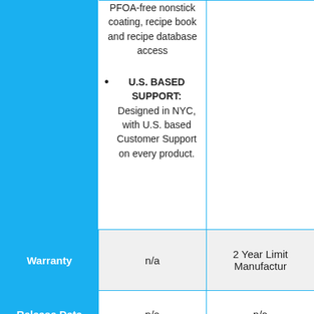|  | Column 2 | Column 3 |
| --- | --- | --- |
|  | PFOA-free nonstick coating, recipe book and recipe database access
• U.S. BASED SUPPORT: Designed in NYC, with U.S. based Customer Support on every product. |  |
| Warranty | n/a | 2 Year Limited Manufactur... |
| Release Date | n/a | n/a |
| Height | 16.0 Inches | 6.5 Inches |
| Width | 6.5 Inches | 9.0 Inches |